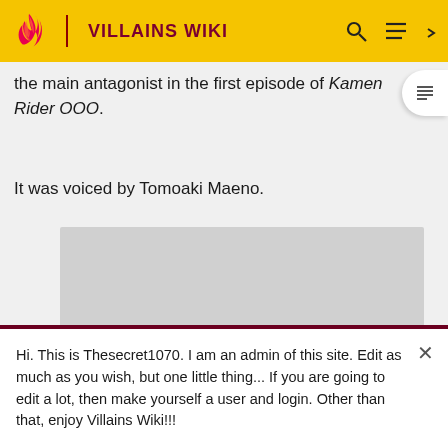VILLAINS WIKI
the main antagonist in the first episode of Kamen Rider OOO.
It was voiced by Tomoaki Maeno.
[Figure (other): Gray placeholder image area]
Hi. This is Thesecret1070. I am an admin of this site. Edit as much as you wish, but one little thing... If you are going to edit a lot, then make yourself a user and login. Other than that, enjoy Villains Wiki!!!